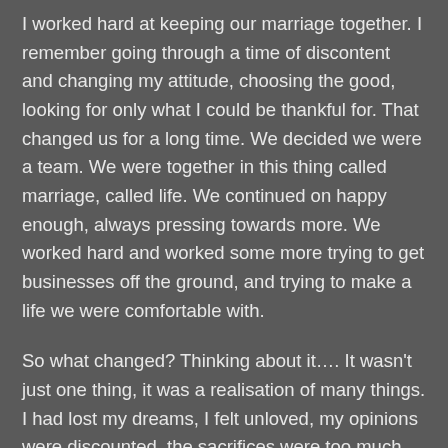I worked hard at keeping our marriage together. I remember going through a time of discontent and changing my attitude, choosing the good, looking for only what I could be thankful for. That changed us for a long time. We decided we were a team. We were together in this thing called marriage, called life. We continued on happy enough, always pressing towards more. We worked hard and worked some more trying to get businesses off the ground, and trying to make a life we were comfortable with.
So what changed? Thinking about it…. It wasn't just one thing, it was a realisation of many things. I had lost my dreams, I felt unloved, my opinions were discounted, the sacrifices were too much, my life had become this web of half truths and inauthentic actions that gave up all I had to satisfy the other, and while I slowly performed on the